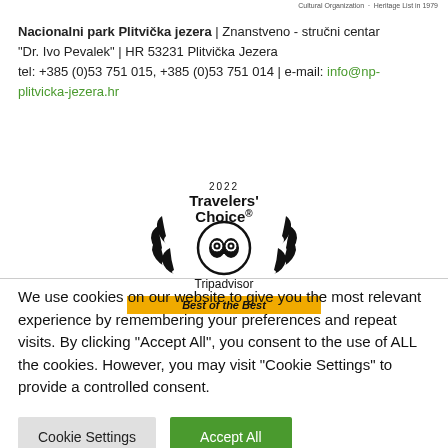Cultural Organization · Heritage List in 1979
Nacionalni park Plitvička jezera | Znanstveno - stručni centar "Dr. Ivo Pevalek" | HR 53231 Plitvička Jezera
tel: +385 (0)53 751 015, +385 (0)53 751 014 | e-mail: info@np-plitvicka-jezera.hr
[Figure (logo): 2022 Travelers' Choice Tripadvisor logo with owl icon and wreath, with Best of the Best gold banner]
We use cookies on our website to give you the most relevant experience by remembering your preferences and repeat visits. By clicking "Accept All", you consent to the use of ALL the cookies. However, you may visit "Cookie Settings" to provide a controlled consent.